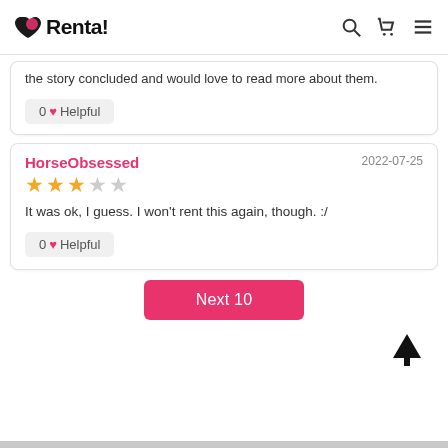Renta!
the story concluded and would love to read more about them.
0 ♥ Helpful
HorseObsessed
2022-07-25
★★★☆☆
It was ok, I guess. I won't rent this again, though. :/
0 ♥ Helpful
Next 10